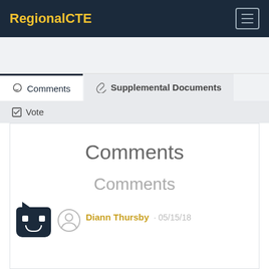RegionalCTE
Comments | Supplemental Documents | Vote (tabs)
Comments
Comments
Diann Thursby · 05/15/18